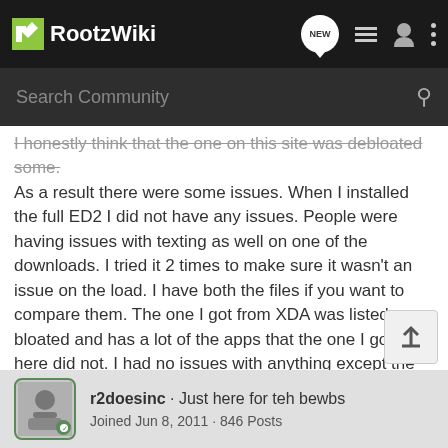RootzWiki
I honestly think that the one on this site was debloated some. As a result there were some issues. When I installed the full ED2 I did not have any issues. People were having issues with texting as well on one of the downloads. I tried it 2 times to make sure it wasn't an issue on the load. I have both the files if you want to compare them. The one I got from XDA was listed as bloated and has a lot of the apps that the one I got from here did not. I had no issues with anything except the tethering issues that everyone is aware of. This is definitely going to hold me until Kejar31 Gummysizes the situation!!!!
r2doesinc · Just here for teh bewbs
Joined Jun 8, 2011 · 846 Posts